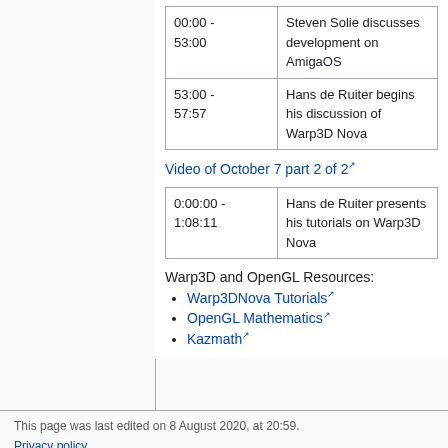|  |  |
| --- | --- |
| 00:00 - 53:00 | Steven Solie discusses development on AmigaOS |
| 53:00 - 57:57 | Hans de Ruiter begins his discussion of Warp3D Nova |
Video of October 7 part 2 of 2
|  |  |
| --- | --- |
| 0:00:00 - 1:08:11 | Hans de Ruiter presents his tutorials on Warp3D Nova |
Warp3D and OpenGL Resources:
Warp3DNova Tutorials
OpenGL Mathematics
Kazmath
This page was last edited on 8 August 2020, at 20:59.